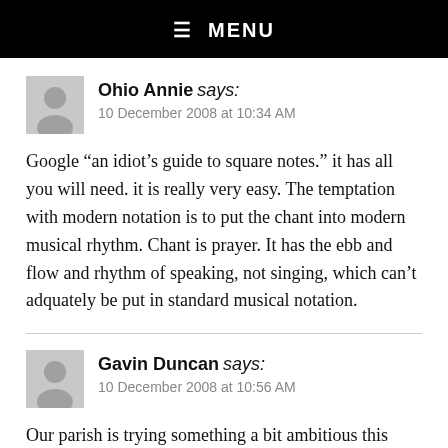☰ MENU
Ohio Annie says:
10 December 2008 at 10:34 AM
Google “an idiot’s guide to square notes.” it has all you will need. it is really very easy. The temptation with modern notation is to put the chant into modern musical rhythm. Chant is prayer. It has the ebb and flow and rhythm of speaking, not singing, which can’t adquately be put in standard musical notation.
Gavin Duncan says:
10 December 2008 at 10:56 AM
Our parish is trying something a bit ambitious this year and so far it’s shaping up to be pretty good: we’re going to have